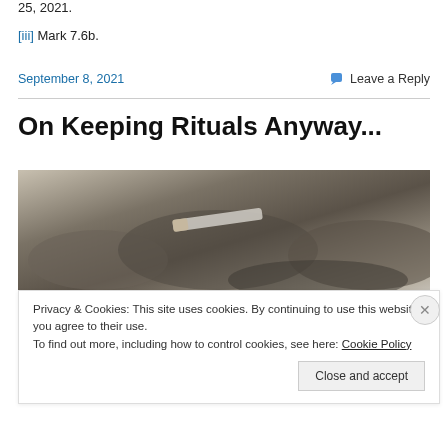25, 2021.
[iii] Mark 7.6b.
September 8, 2021    Leave a Reply
On Keeping Rituals Anyway...
[Figure (photo): Close-up photo of soil/ash and a cigarette or rolled object, black and white tones]
Privacy & Cookies: This site uses cookies. By continuing to use this website, you agree to their use.
To find out more, including how to control cookies, see here: Cookie Policy
Close and accept